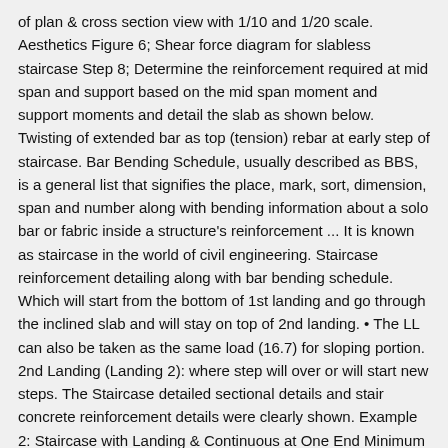of plan & cross section view with 1/10 and 1/20 scale. Aesthetics Figure 6; Shear force diagram for slabless staircase Step 8; Determine the reinforcement required at mid span and support based on the mid span moment and support moments and detail the slab as shown below. Twisting of extended bar as top (tension) rebar at early step of staircase. Bar Bending Schedule, usually described as BBS, is a general list that signifies the place, mark, sort, dimension, span and number along with bending information about a solo bar or fabric inside a structure's reinforcement ... It is known as staircase in the world of civil engineering. Staircase reinforcement detailing along with bar bending schedule. Which will start from the bottom of 1st landing and go through the inclined slab and will stay on top of 2nd landing. • The LL can also be taken as the same load (16.7) for sloping portion. 2nd Landing (Landing 2): where step will over or will start new steps. The Staircase detailed sectional details and stair concrete reinforcement details were clearly shown. Example 2: Staircase with Landing & Continuous at One End Minimum &